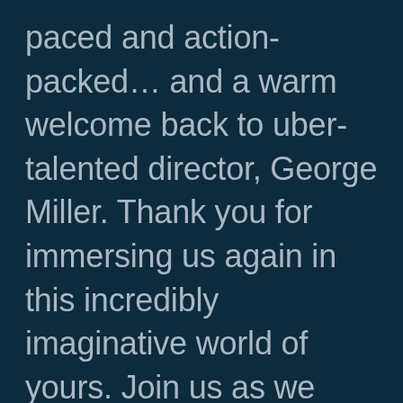paced and action-packed… and a warm welcome back to uber-talented director, George Miller. Thank you for immersing us again in this incredibly imaginative world of yours. Join us as we discuss why Fury Road is far superior to even the leading contenders in car-chase, action features (enough so to